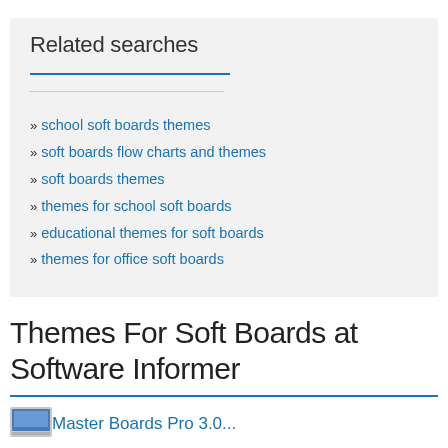Related searches
» school soft boards themes
» soft boards flow charts and themes
» soft boards themes
» themes for school soft boards
» educational themes for soft boards
» themes for office soft boards
Themes For Soft Boards at Software Informer
[Figure (screenshot): Small application icon thumbnail]